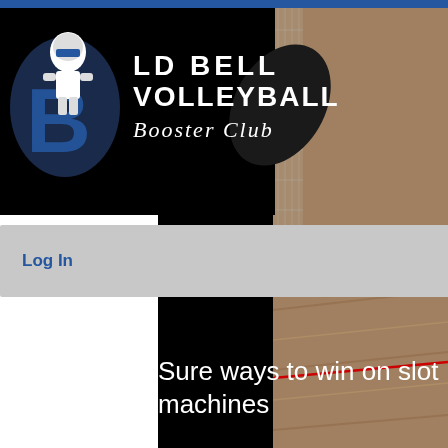[Figure (screenshot): LD Bell Volleyball Booster Club website header with logo showing knight mascot with 'B', organization name in white bold text, navigation bar with Log In text and shopping cart badge showing 0, hamburger menu button, and article title 'Sure ways to win on slot machines' on black background. Right side shows a blurred photo of a volleyball court with wooden floor and net.]
LD BELL VOLLEYBALL Booster Club
Log In
0
Sure ways to win on slot machines